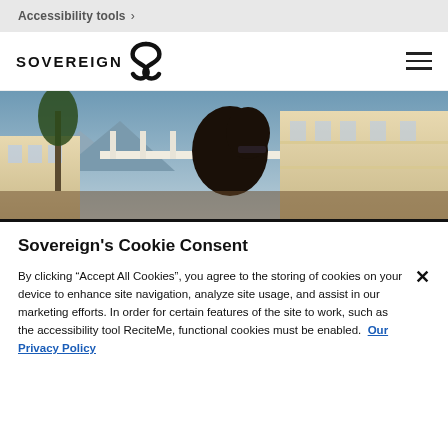Accessibility tools >
[Figure (logo): Sovereign logo with stylized S icon and hamburger menu icon on the right]
[Figure (photo): A person with dark hair and sunglasses in front of a Mediterranean-style building with balconies and trees]
Sovereign's Cookie Consent
By clicking “Accept All Cookies”, you agree to the storing of cookies on your device to enhance site navigation, analyze site usage, and assist in our marketing efforts. In order for certain features of the site to work, such as the accessibility tool ReciteMe, functional cookies must be enabled. Our Privacy Policy